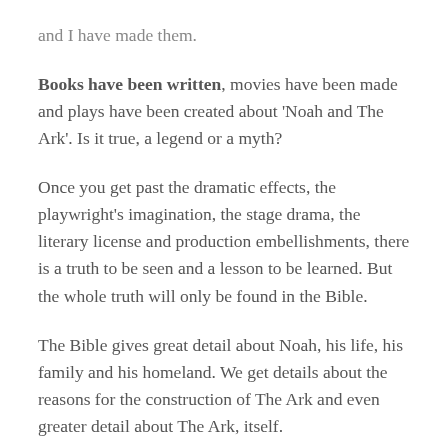and I have made them.
Books have been written, movies have been made and plays have been created about ‘Noah and The Ark’. Is it true, a legend or a myth?
Once you get past the dramatic effects, the playwright’s imagination, the stage drama, the literary license and production embellishments, there is a truth to be seen and a lesson to be learned. But the whole truth will only be found in the Bible.
The Bible gives great detail about Noah, his life, his family and his homeland. We get details about the reasons for the construction of The Ark and even greater detail about The Ark, itself.